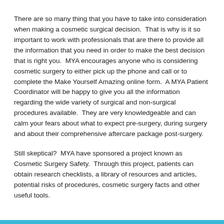There are so many thing that you have to take into consideration when making a cosmetic surgical decision.  That is why is it so important to work with professionals that are there to provide all the information that you need in order to make the best decision that is right you.  MYA encourages anyone who is considering cosmetic surgery to either pick up the phone and call or to complete the Make Yourself Amazing online form.  A MYA Patient Coordinator will be happy to give you all the information regarding the wide variety of surgical and non-surgical procedures available.  They are very knowledgeable and can calm your fears about what to expect pre-surgery, during surgery and about their comprehensive aftercare package post-surgery.
Still skeptical?  MYA have sponsored a project known as Cosmetic Surgery Safety.  Through this project, patients can obtain research checklists, a library of resources and articles, potential risks of procedures, cosmetic surgery facts and other useful tools.